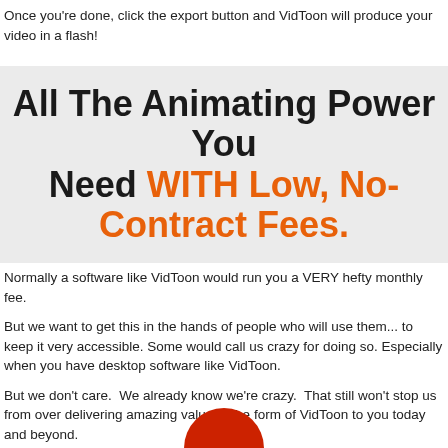Once you're done, click the export button and VidToon will produce your video in a flash!
All The Animating Power You Need WITH Low, No-Contract Fees.
Normally a software like VidToon would run you a VERY hefty monthly fee.
But we want to get this in the hands of people who will use them... to keep it very accessible. Some would call us crazy for doing so. Especially when you have desktop software like VidToon.
But we don't care.  We already know we're crazy.  That still won't stop us from over delivering amazing value in the form of VidToon to you today and beyond.
[Figure (illustration): Partial red circular graphic at bottom of page]